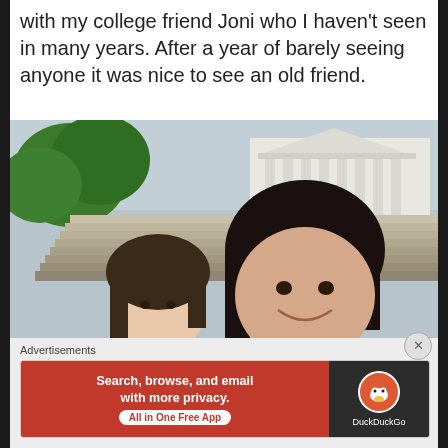with my college friend Joni who I haven't seen in many years. After a year of barely seeing anyone it was nice to see an old friend.
[Figure (photo): Selfie photo of two women smiling in front of a large white neoclassical building with columns and wide stone steps, with green trees on the left and overcast sky.]
Advertisements
[Figure (screenshot): DuckDuckGo advertisement banner. Left side (red background): 'Search, browse, and email with more privacy. All in One Free App'. Right side (dark background): DuckDuckGo logo (duck icon) and 'DuckDuckGo' text.]